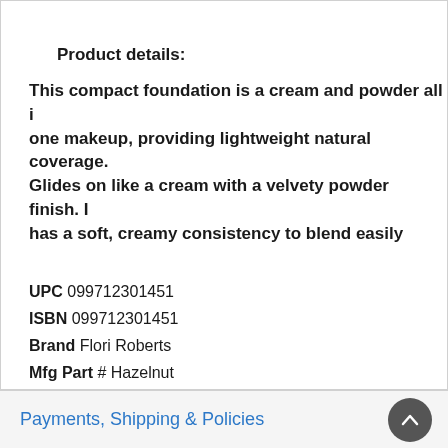Product details:
This compact foundation is a cream and powder all in one makeup, providing lightweight natural coverage. Glides on like a cream with a velvety powder finish. It has a soft, creamy consistency to blend easily
UPC 099712301451
ISBN 099712301451
Brand Flori Roberts
Mfg Part # Hazelnut
Payments, Shipping & Policies